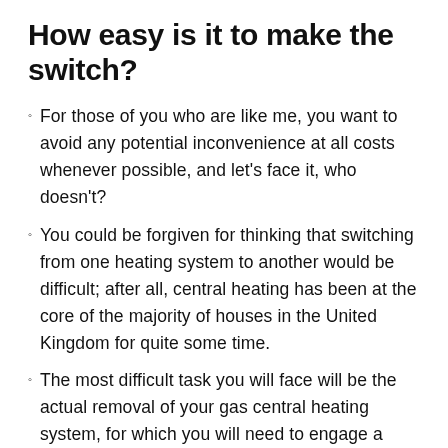How easy is it to make the switch?
For those of you who are like me, you want to avoid any potential inconvenience at all costs whenever possible, and let’s face it, who doesn’t?
You could be forgiven for thinking that switching from one heating system to another would be difficult; after all, central heating has been at the core of the majority of houses in the United Kingdom for quite some time.
The most difficult task you will face will be the actual removal of your gas central heating system, for which you will need to engage a licensed gas expert who will decommission your boiler and then remove the existing pipes and radiators from your home.